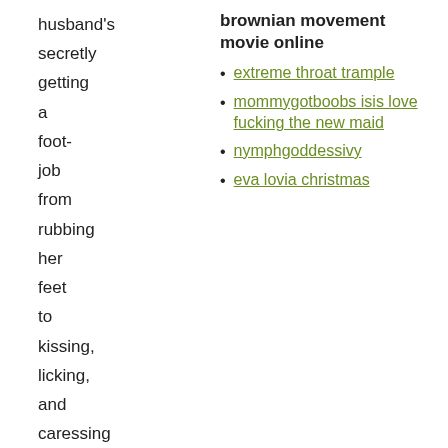husband's secretly getting a foot-job from rubbing her feet to kissing, licking, and caressing their perfect pussy thankfully
brownian movement movie online
extreme throat trample
mommygotboobs isis love fucking the new maid
nymphgoddessivy
eva lovia christmas